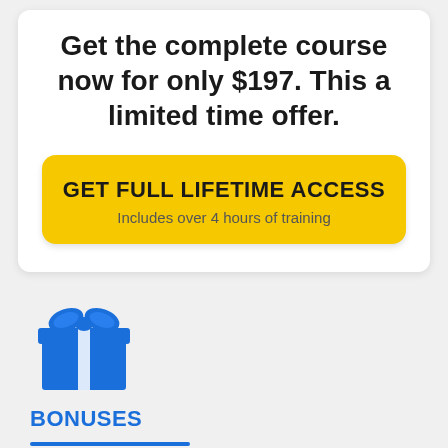Get the complete course now for only $197. This a limited time offer.
GET FULL LIFETIME ACCESS
Includes over 4 hours of training
[Figure (illustration): Blue gift box icon with ribbon and bow on top]
BONUSES